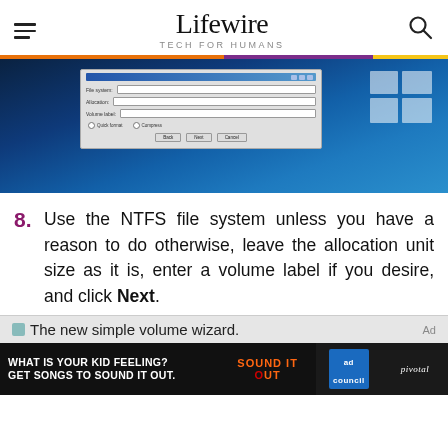Lifewire — TECH FOR HUMANS
[Figure (screenshot): Screenshot of Windows 10 desktop showing a format disk dialog window with fields and radio buttons, with the Windows logo watermark visible in the upper right]
Use the NTFS file system unless you have a reason to do otherwise, leave the allocation unit size as it is, enter a volume label if you desire, and click Next.
The new simple volume wizard.
[Figure (infographic): Ad banner: What is your kid feeling? Get songs to sound it out. Sound It Out. Ad Council. Pivotal.]